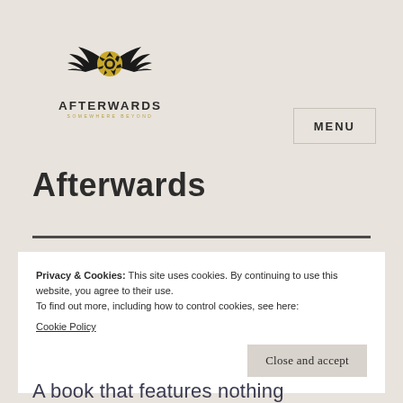[Figure (logo): Afterwards logo: black wings with a gold camera aperture circle in the center, text AFTERWARDS in bold caps, tagline SOMEWHERE BEYOND in small gold caps]
MENU
Afterwards
Privacy & Cookies: This site uses cookies. By continuing to use this website, you agree to their use.
To find out more, including how to control cookies, see here:
Cookie Policy
Close and accept
A book that features nothing